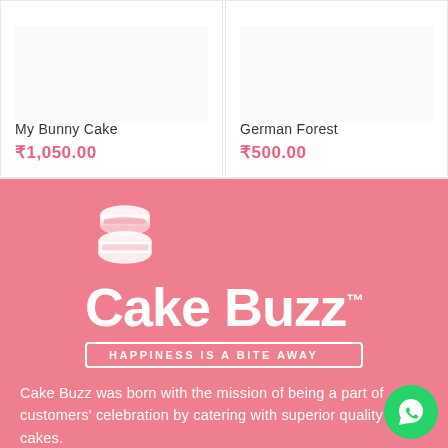My Bunny Cake
₹1,050.00
German Forest
₹500.00
[Figure (logo): Cake Buzz logo: white stacked cake icon with text 'Cake Buzz' and tagline 'HAPPINESS IS A BITE AWAY' on pink background]
Cake Buzz was born with the mission of being a part of customers' celebration by catering with superior quality cakes.